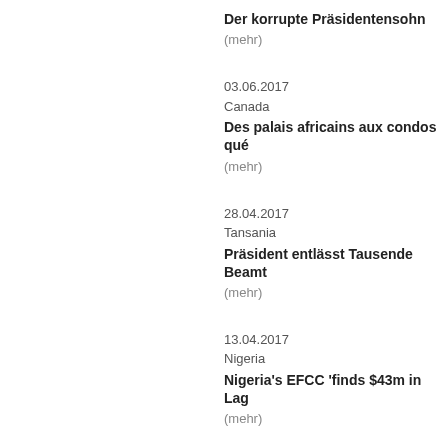Der korrupte Präsidentensohn
(mehr)
03.06.2017
Canada
Des palais africains aux condos qué…
(mehr)
28.04.2017
Tansania
Präsident entlässt Tausende Beamt…
(mehr)
13.04.2017
Nigeria
Nigeria's EFCC 'finds $43m in Lag…
(mehr)